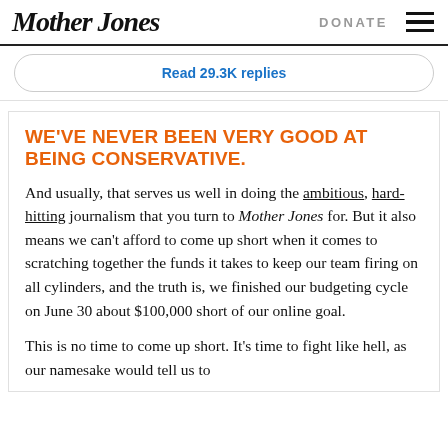Mother Jones  DONATE
Read 29.3K replies
WE'VE NEVER BEEN VERY GOOD AT BEING CONSERVATIVE.
And usually, that serves us well in doing the ambitious, hard-hitting journalism that you turn to Mother Jones for. But it also means we can't afford to come up short when it comes to scratching together the funds it takes to keep our team firing on all cylinders, and the truth is, we finished our budgeting cycle on June 30 about $100,000 short of our online goal.
This is no time to come up short. It's time to fight like hell, as our namesake would tell us to